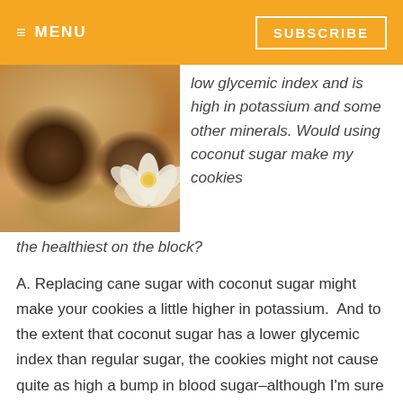≡ MENU    SUBSCRIBE
[Figure (photo): A cracked coconut shell with a white tropical flower on a bamboo mat background]
low glycemic index and is high in potassium and some other minerals. Would using coconut sugar make my cookies the healthiest on the block?
A. Replacing cane sugar with coconut sugar might make your cookies a little higher in potassium.  And to the extent that coconut sugar has a lower glycemic index than regular sugar, the cookies might not cause quite as high a bump in blood sugar–although I'm sure it would still be significant.
But here's the thing: The fact that coconut sugar has a